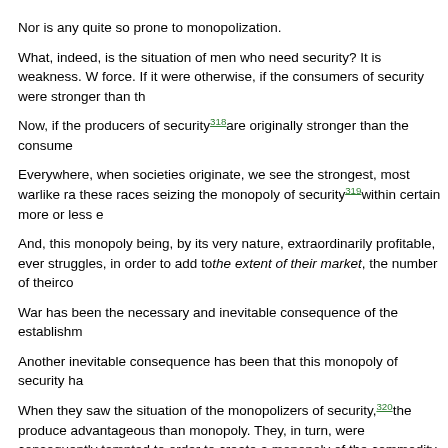Nor is any quite so prone to monopolization.
What, indeed, is the situation of men who need security? It is weakness. W force. If it were otherwise, if the consumers of security were stronger than th
Now, if the producers of security[318]are originally stronger than the consume
Everywhere, when societies originate, we see the strongest, most warlike ra these races seizing the monopoly of security[319]within certain more or less e
And, this monopoly being, by its very nature, extraordinarily profitable, ever struggles, in order to add to the extent of their market, the number of theirco
War has been the necessary and inevitable consequence of the establishm
Another inevitable consequence has been that this monopoly of security ha
When they saw the situation of the monopolizers of security,[320]the produce advantageous than monopoly. They, in turn, were consequently tempted to order to create a monopoly of the commodity they produced, to the detrime necessary to contain the resistance of the consumers whose interests were who had it. They petitioned and obtained, at the price of an agreed upon fe Since the taxes[321]for these privileges brought the producers of security a c were everywhere shackled, chained up, and the condition of the masses re
Nevertheless, after long centuries of suffering, as enlightenment spread thr began to rebel against the privileged, and to demand liberty, that is to say, th
This process took many forms. What happened in England, for example? C (feudalism), having at its head a hereditary director (the king), and an equa which it had monopolized, at whatever rate it pleased. There was no negoti [322]